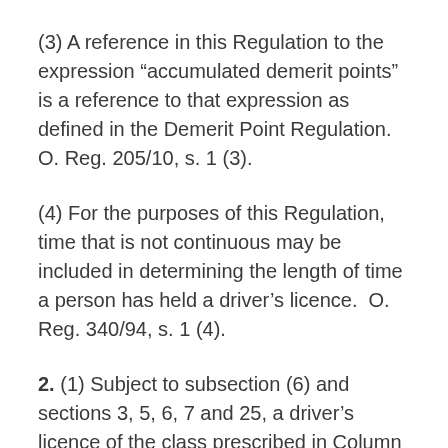(3) A reference in this Regulation to the expression “accumulated demerit points” is a reference to that expression as defined in the Demerit Point Regulation.  O. Reg. 205/10, s. 1 (3).
(4) For the purposes of this Regulation, time that is not continuous may be included in determining the length of time a person has held a driver’s licence.  O. Reg. 340/94, s. 1 (4).
2. (1) Subject to subsection (6) and sections 3, 5, 6, 7 and 25, a driver’s licence of the class prescribed in Column 1 of the Table is authority to drive a motor vehicle of the corresponding class prescribed in Column 2 and the classes of motor